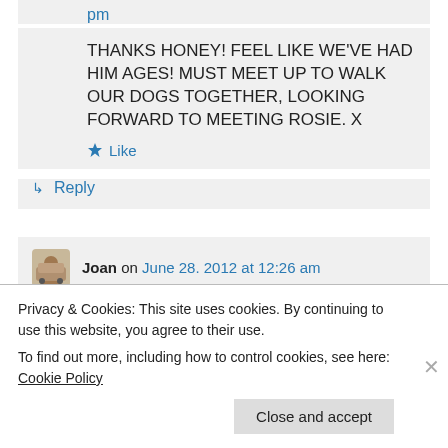pm
THANKS HONEY! FEEL LIKE WE'VE HAD HIM AGES! MUST MEET UP TO WALK OUR DOGS TOGETHER, LOOKING FORWARD TO MEETING ROSIE. X
★ Like
↳ Reply
Joan on June 28. 2012 at 12:26 am
Privacy & Cookies: This site uses cookies. By continuing to use this website, you agree to their use.
To find out more, including how to control cookies, see here: Cookie Policy
Close and accept